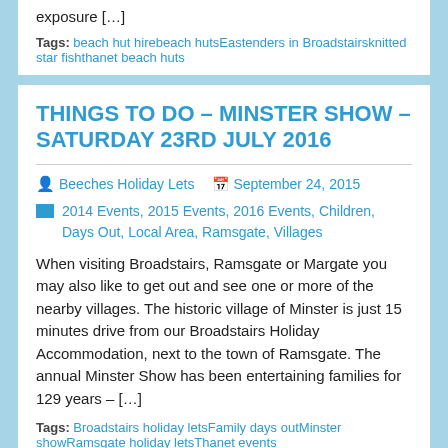exposure […]
Tags: beach hut hirebeach hutsEastenders in Broadstairsknitted star fishthanet beach huts
THINGS TO DO – MINSTER SHOW – SATURDAY 23RD JULY 2016
Beeches Holiday Lets  September 24, 2015
2014 Events, 2015 Events, 2016 Events, Children, Days Out, Local Area, Ramsgate, Villages
When visiting Broadstairs, Ramsgate or Margate you may also like to get out and see one or more of the nearby villages. The historic village of Minster is just 15 minutes drive from our Broadstairs Holiday Accommodation, next to the town of Ramsgate. The annual Minster Show has been entertaining families for 129 years – […]
Tags: Broadstairs holiday letsFamily days outMinster showRamsgate holiday letsThanet events
BROADSTAIRS FOOD FESTIVAL – OCTOBER 2ND – 4TH 2015